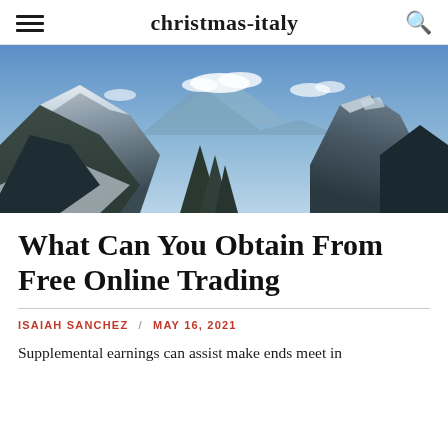christmas-italy
[Figure (photo): Panoramic winter mountain landscape with snow-covered peaks, rocky cliffs, and blue sky with clouds.]
What Can You Obtain From Free Online Trading
ISAIAH SANCHEZ / MAY 16, 2021
Supplemental earnings can assist make ends meet in